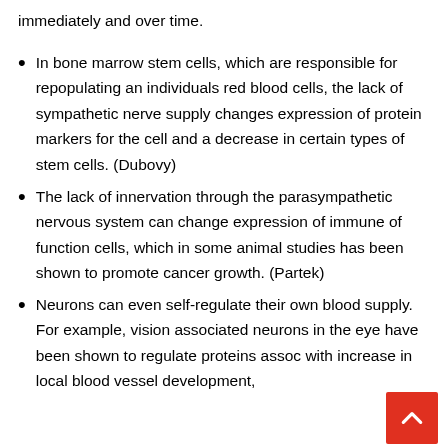immediately and over time.
In bone marrow stem cells, which are responsible for repopulating an individuals red blood cells, the lack of sympathetic nerve supply changes expression of protein markers for the cell and a decrease in certain types of stem cells. (Dubovy)
The lack of innervation through the parasympathetic nervous system can change expression of immune of function cells, which in some animal studies has been shown to promote cancer growth. (Partek)
Neurons can even self-regulate their own blood supply. For example, vision associated neurons in the eye have been shown to regulate proteins assoc with increase in local blood vessel development,